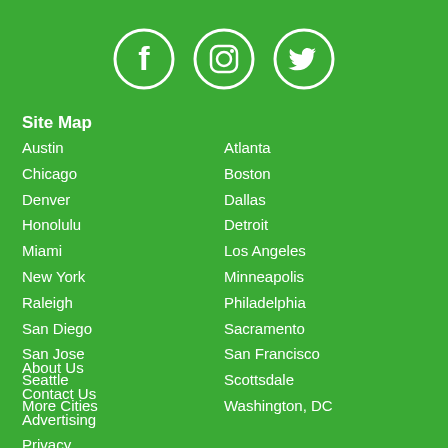[Figure (other): Social media icons: Facebook, Instagram, Twitter in white circles on green background]
Site Map
Austin
Chicago
Denver
Honolulu
Miami
New York
Raleigh
San Diego
San Jose
Seattle
More Cities
Atlanta
Boston
Dallas
Detroit
Los Angeles
Minneapolis
Philadelphia
Sacramento
San Francisco
Scottsdale
Washington, DC
About Us
Contact Us
Advertising
Privacy